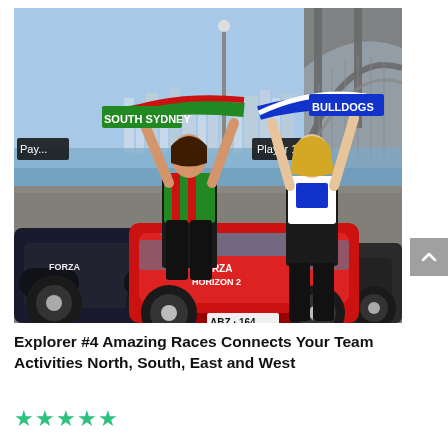[Figure (photo): Two women standing in front of a red Ferrari with 'Forza Horizon 2' branding on it, parked near Sydney Harbour Bridge. The woman on the left holds a green 'South Sydney' rugby scarf, wearing a South Sydney Rabbitohs jersey. The woman on the right holds a blue 'Bulldogs' scarf. A dark Lamborghini is on the left with Forza branding. The red Ferrari has a number plate 'ABZ 164'. A 'Player 1' label appears on screen overlaid on the image.]
Explorer #4 Amazing Races Connects Your Team Activities North, South, East and West
★★★★★